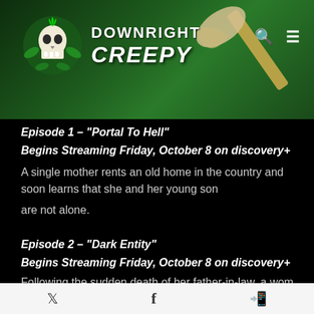[Figure (screenshot): Downright Creepy website header banner with dark green background, skull logo, axe image, and navigation icons]
Episode 1 – "Portal To Hell"
Begins Streaming Friday, October 8 on discovery+
A single mother rents an old home in the country and soon learns that she and her young son are not alone.
Episode 2 – "Dark Entity"
Begins Streaming Friday, October 8 on discovery+
Following the sudden death of her father-in-law, a woman
Twitter  Facebook  WhatsApp